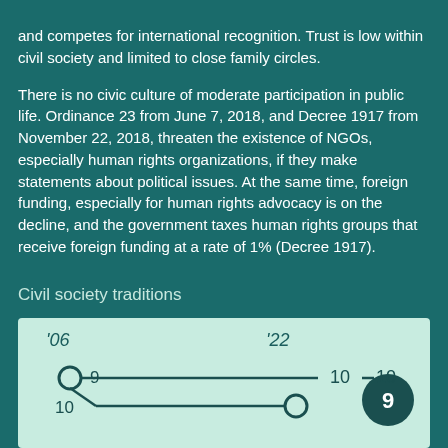and competes for international recognition. Trust is low within civil society and limited to close family circles.
There is no civic culture of moderate participation in public life. Ordinance 23 from June 7, 2018, and Decree 1917 from November 22, 2018, threaten the existence of NGOs, especially human rights organizations, if they make statements about political issues. At the same time, foreign funding, especially for human rights advocacy is on the decline, and the government taxes human rights groups that receive foreign funding at a rate of 1% (Decree 1917).
Civil society traditions
[Figure (other): Timeline chart showing Civil society traditions scores. '06 score: 9 (upper line) and 10 (lower line). '22 score: 10 (upper line) and circle at end of lower line. Right side shows filled dark circle with 9 and label 10 above.]